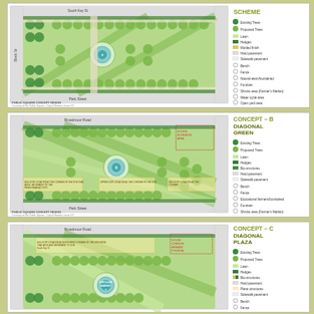[Figure (engineering-diagram): Public Square Concept Design - Scheme (top panel): aerial plan view of a public square with diagonal green paths, circular fountain, trees, lawns, and planting. Legend includes Existing Trees, Proposed Trees, Lawn, Hedges, Mottled finish, Hard pavement, Sidewalk pavement, Bench, Fence, Natural elements / fountained, Fountain, Shrubs area (Farmer's Market), Water cycle area, Open yard area, Kiosk/fair stage.]
[Figure (engineering-diagram): Concept B - Diagonal Green (middle panel): aerial plan view similar to top but with diagonal green strips arrangement, circular water feature, rows of proposed trees, and color-coded legend including Existing Trees, Proposed Trees, Lawn, Hedges, Bio-structures, Hard pavement, Sidewalk pavement, Bench, Fence, Educational farmers/fountained, Fountain, Shrubs area (Farmer's Market), Book zone, Music flexible use/Lawn, Urban agora (GRE).]
[Figure (engineering-diagram): Concept C - Diagonal Plaza (bottom panel): aerial plan view with diagonal plaza arrangement, circular fountain with text overlay, rows of trees, and color-coded legend including Existing Trees, Proposed Trees, Lawn, Hedges, Bio-structures, Hard pavement, Plane structures, Sidewalk pavement, Bench, Fence.]